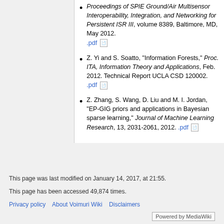Proceedings of SPIE Ground/Air Multisensor Interoperability, Integration, and Networking for Persistent ISR III, volume 8389, Baltimore, MD, May 2012. .pdf
Z. Yi and S. Soatto, "Information Forests," Proc. ITA, Information Theory and Applications, Feb. 2012. Technical Report UCLA CSD 120002. .pdf
Z. Zhang, S. Wang, D. Liu and M. I. Jordan, "EP-GIG priors and applications in Bayesian sparse learning," Journal of Machine Learning Research, 13, 2031-2061, 2012. .pdf
This page was last modified on January 14, 2017, at 21:55.
This page has been accessed 49,874 times.
Privacy policy   About Voimuri Wiki   Disclaimers